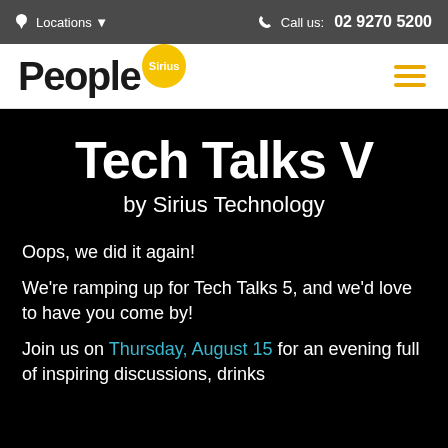Locations ▾    Call us: 02 9270 5200
[Figure (logo): People Sirius logo with yellow circular badge and hamburger menu icon]
Tech Talks V
by Sirius Technology
Oops, we did it again!
We're ramping up for Tech Talks 5, and we'd love to have you come by!
Join us on Thursday, August 15 for an evening full of inspiring discussions, drinks